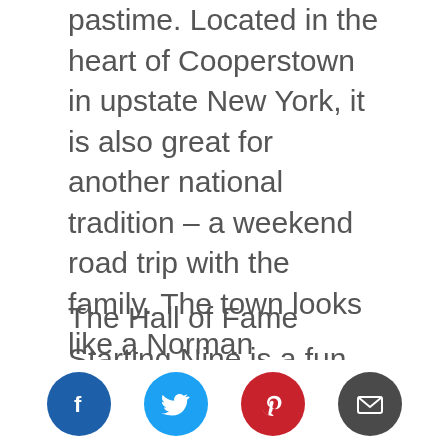pastime. Located in the heart of Cooperstown in upstate New York, it is also great for another national tradition – a weekend road trip with the family. The town looks like a Norman Rockwell painting, with shops, craft beverages and cafes to enjoy. There's even a trolley to take you around. The trip itself is a scenic adventure, especially beautiful in the fall when colorful foliage guides the way.
The Hall of Fame Starting Nine is a fun way to get acquainted with the museum if you have never been before, and it's the perfect excuse to visit soon. The program is only available through
[Figure (infographic): Social media sharing icons: Facebook (blue), Twitter (cyan), Pinterest (red), Email (dark gray)]